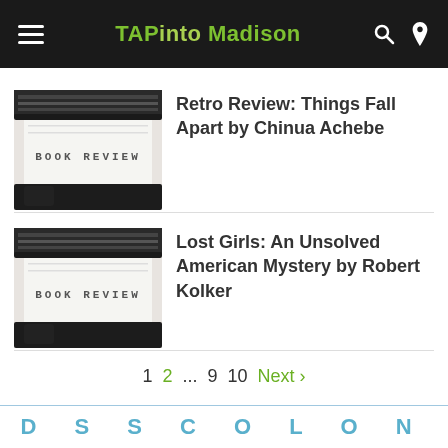TAPinto Madison
[Figure (screenshot): Typewriter image with text BOOK REVIEW]
Retro Review: Things Fall Apart by Chinua Achebe
[Figure (screenshot): Typewriter image with text BOOK REVIEW]
Lost Girls: An Unsolved American Mystery by Robert Kolker
1  2  ...  9  10  Next ›
D S S C O L O N